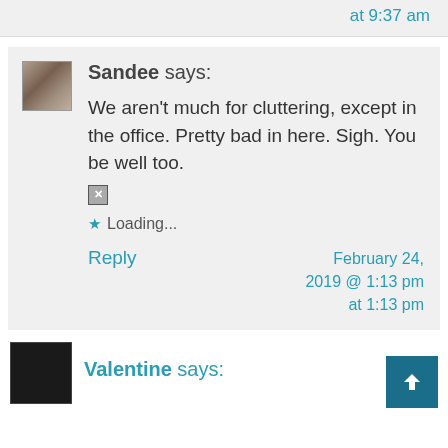at 9:37 am
Sandee says:
We aren't much for cluttering, except in the office. Pretty bad in here. Sigh. You be well too.
Loading...
Reply
February 24, 2019 @ 1:13 pm at 1:13 pm
Valentine says: